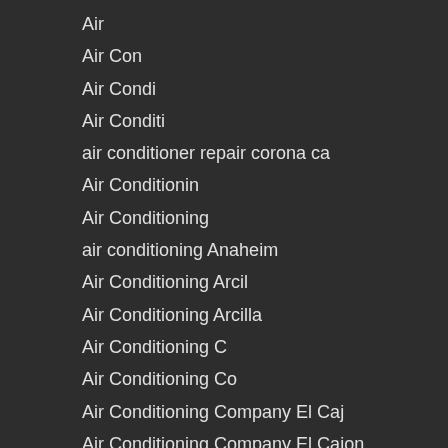Air
Air Con
Air Condi
Air Conditi
air conditioner repair corona ca
Air Conditionin
Air Conditioning
air conditioning Anaheim
Air Conditioning Arcil
Air Conditioning Arcilla
Air Conditioning C
Air Conditioning Co
Air Conditioning Company El Caj
Air Conditioning Company El Cajon
Air Conditioning Company Northridge
Air Conditioning Contractor El Cajon
Air Conditioning Contractor Northridg